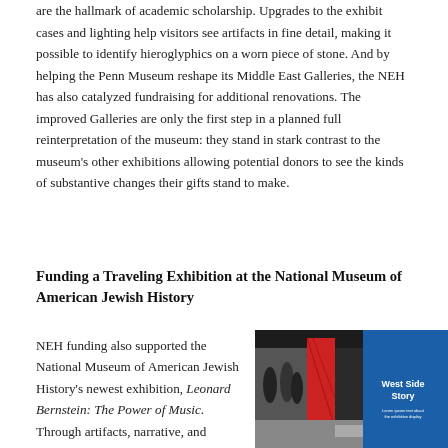are the hallmark of academic scholarship. Upgrades to the exhibit cases and lighting help visitors see artifacts in fine detail, making it possible to identify hieroglyphics on a worn piece of stone. And by helping the Penn Museum reshape its Middle East Galleries, the NEH has also catalyzed fundraising for additional renovations. The improved Galleries are only the first step in a planned full reinterpretation of the museum: they stand in stark contrast to the museum's other exhibitions allowing potential donors to see the kinds of substantive changes their gifts stand to make.
Funding a Traveling Exhibition at the National Museum of American Jewish History
NEH funding also supported the National Museum of American Jewish History's newest exhibition, Leonard Bernstein: The Power of Music. Through artifacts, narrative, and multimedia installations, the
[Figure (photo): Photo of a museum exhibition with a blue wall panel reading 'West Side Story' in white text, a red display panel, and black and white photographs of people.]